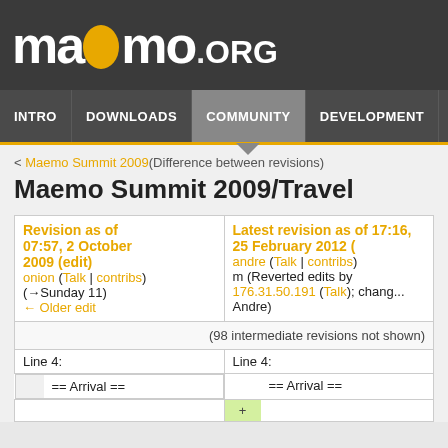[Figure (logo): maemo.ORG logo in white text on dark gray background]
INTRO | DOWNLOADS | COMMUNITY | DEVELOPMENT | NEWS
< Maemo Summit 2009 (Difference between revisions)
Maemo Summit 2009/Travel
| Revision as of 07:57, 2 October 2009 (edit) | Latest revision as of 17:16, 25 February 2012 (...) |
| --- | --- |
| onion (Talk | contribs)
(→Sunday 11)
← Older edit | andre (Talk | contribs)
m (Reverted edits by 176.31.50.191 (Talk); chang... Andre) |
| (98 intermediate revisions not shown) |  |
| Line 4: | Line 4: |
| == Arrival == | == Arrival == |
|  | + |